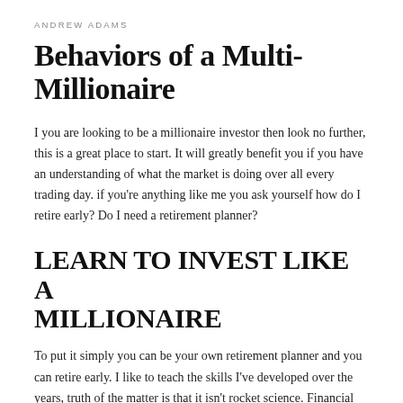ANDREW ADAMS
Behaviors of a Multi-Millionaire
I you are looking to be a millionaire investor then look no further, this is a great place to start. It will greatly benefit you if you have an understanding of what the market is doing over all every trading day. if you're anything like me you ask yourself how do I retire early? Do I need a retirement planner?
LEARN TO INVEST LIKE A MILLIONAIRE
To put it simply you can be your own retirement planner and you can retire early. I like to teach the skills I've developed over the years, truth of the matter is that it isn't rocket science. Financial